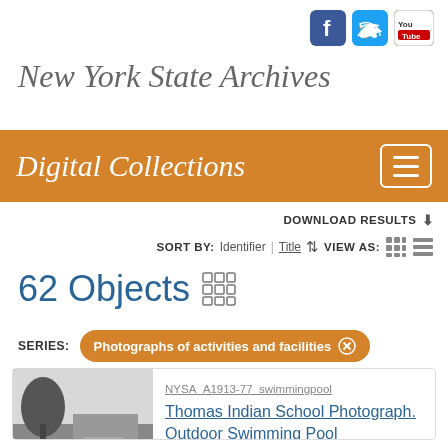[Figure (logo): Social media icons: Facebook (blue square with f), Twitter (light blue square with bird), YouTube (white square with YouTube logo)]
New York State Archives
Digital Collections
DOWNLOAD RESULTS
SORT BY: Identifier | Title  VIEW AS:
62 Objects
SERIES: Photographs of activities and facilities ⊗
NYSA_A1913-77_swimmingpool
Thomas Indian School Photograph. Outdoor Swimming Pool